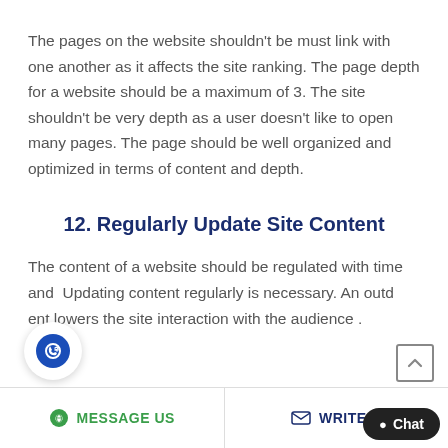The pages on the website shouldn't be must link with one another as it affects the site ranking. The page depth for a website should be a maximum of 3. The site shouldn't be very depth as a user doesn't like to open many pages. The page should be well organized and optimized in terms of content and depth.
12. Regularly Update Site Content
The content of a website should be regulated with time and Updating content regularly is necessary. An outd ent lowers the site interaction with the audience .